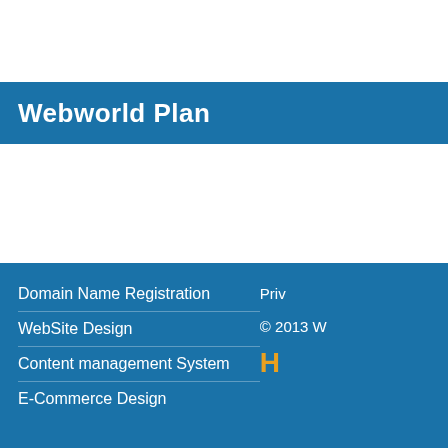Webworld Plan
Domain Name Registration
WebSite Design
Content management System
E-Commerce Design
Priv...
© 2013 W...
H...